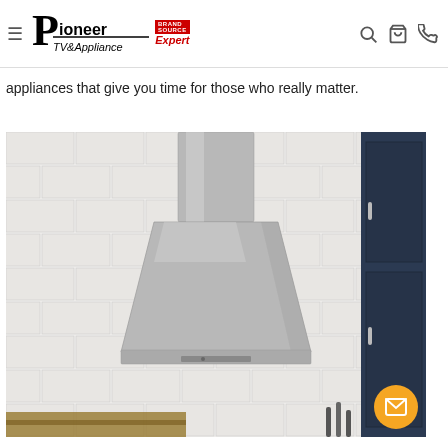Pioneer TV&Appliance — BrandSource Expert
appliances that give you time for those who really matter.
[Figure (photo): A stainless steel wall-mount range hood (chimney style) mounted on a white subway tile kitchen backsplash. The hood has a triangular/pyramid canopy shape and a cylindrical chimney going to the ceiling. Blue cabinetry is visible on the right edge. Kitchen utensils and a cutting board are visible at the bottom.]